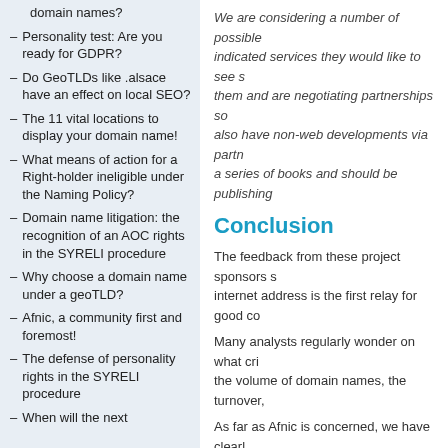domain names?
Personality test: Are you ready for GDPR?
Do GeoTLDs like .alsace have an effect on local SEO?
The 11 vital locations to display your domain name!
What means of action for a Right-holder ineligible under the Naming Policy?
Domain name litigation: the recognition of an AOC rights in the SYRELI procedure
Why choose a domain name under a geoTLD?
Afnic, a community first and foremost!
The defense of personality rights in the SYRELI procedure
When will the next
We are considering a number of possible indicated services they would like to see s them and are negotiating partnerships so also have non-web developments via partn a series of books and should be publishing
Conclusion
The feedback from these project sponsors s internet address is the first relay for good co
Many analysts regularly wonder on what cri the volume of domain names, the turnover,
As far as Afnic is concerned, we have clearl the quality of the projects that chose it.
If you would like to know more about Afnic's contact us via the following email address: s
More Information
Buy your .bzh domain name on pik.bzh
Buy your .paris domain name on bien